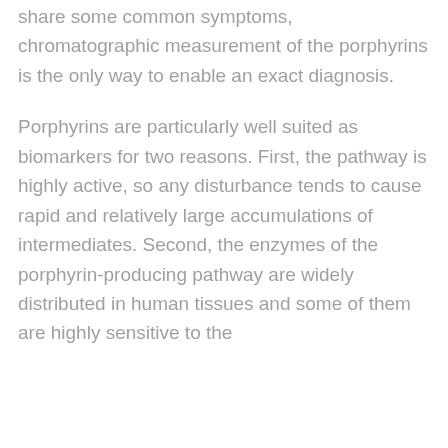share some common symptoms, chromatographic measurement of the porphyrins is the only way to enable an exact diagnosis.
Porphyrins are particularly well suited as biomarkers for two reasons. First, the pathway is highly active, so any disturbance tends to cause rapid and relatively large accumulations of intermediates. Second, the enzymes of the porphyrin-producing pathway are widely distributed in human tissues and some of them are highly sensitive to the